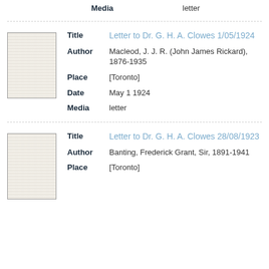Media   letter
[Figure (photo): Thumbnail of a typewritten letter page]
Title  Letter to Dr. G. H. A. Clowes 1/05/1924
Author  Macleod, J. J. R. (John James Rickard), 1876-1935
Place  [Toronto]
Date  May 1 1924
Media  letter
[Figure (photo): Thumbnail of a typewritten letter page]
Title  Letter to Dr. G. H. A. Clowes 28/08/1923
Author  Banting, Frederick Grant, Sir, 1891-1941
Place  [Toronto]